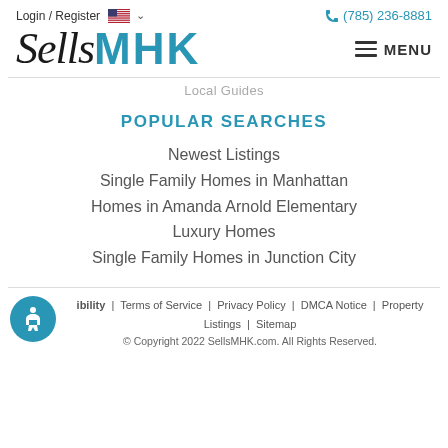Login / Register  (785) 236-8881
[Figure (logo): SellsMHK real estate website logo — 'Sells' in cursive black script, 'MHK' in bold teal sans-serif]
Local Guides
POPULAR SEARCHES
Newest Listings
Single Family Homes in Manhattan
Homes in Amanda Arnold Elementary
Luxury Homes
Single Family Homes in Junction City
Accessibility | Terms of Service | Privacy Policy | DMCA Notice | Property Listings | Sitemap
© Copyright 2022 SellsMHK.com. All Rights Reserved.